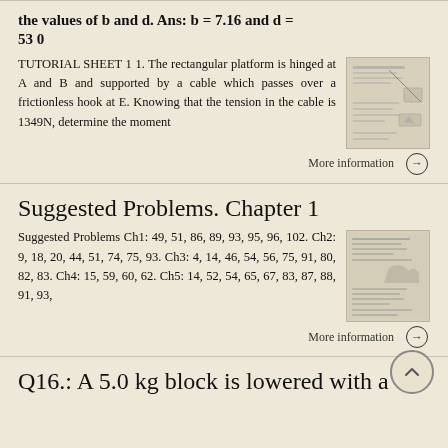the values of b and d. Ans: b = 7.16 and d = 530
TUTORIAL SHEET 1 1. The rectangular platform is hinged at A and B and supported by a cable which passes over a frictionless hook at E. Knowing that the tension in the cable is 1349N, determine the moment
[Figure (illustration): Thumbnail image of a document/problem diagram]
More information →
Suggested Problems. Chapter 1
Suggested Problems Ch1: 49, 51, 86, 89, 93, 95, 96, 102. Ch2: 9, 18, 20, 44, 51, 74, 75, 93. Ch3: 4, 14, 46, 54, 56, 75, 91, 80, 82, 83. Ch4: 15, 59, 60, 62. Ch5: 14, 52, 54, 65, 67, 83, 87, 88, 91, 93,
[Figure (illustration): Thumbnail image of a document/problem set]
More information →
Q16.: A 5.0 kg block is lowered with a